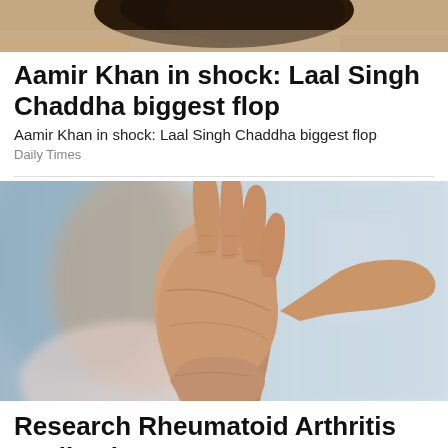[Figure (photo): Cropped top portion of a person, showing hair and upper body, warm brown tones]
Aamir Khan in shock: Laal Singh Chaddha biggest flop
Aamir Khan in shock: Laal Singh Chaddha biggest flop
Daily Times
[Figure (photo): Close-up photo of an elderly woman holding up her hand showing arthritic fingers toward the camera, with blurred background]
Research Rheumatoid Arthritis Medication